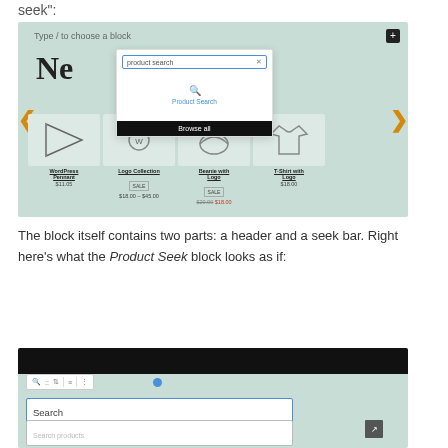seek":
[Figure (screenshot): WordPress block editor screenshot showing a product search block being added. A popup shows 'product search' typed in the search field with a Product Search result and 'Browse all' button. Below shows a product carousel with WordPress Pennant ($11.05), Logo Collection (SALE, $18.00–$45.00), Beanie with Logo (SALE, $20.00 $18.00), T-Shirt with Logo ($18.00). Navigation arrows on left and right.]
The block itself contains two parts: a header and a seek bar. Right here’s what the Product Seek block looks as if:
[Figure (screenshot): Screenshot of the Product Seek block in the WordPress editor, showing a dark header bar, a toolbar with icons, a Search label and a Search products input field.]